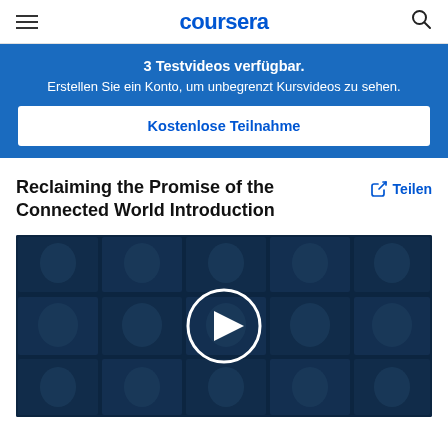coursera
3 Testvideos verfügbar.
Erstellen Sie ein Konto, um unbegrenzt Kursvideos zu sehen.
Kostenlose Teilnahme
Reclaiming the Promise of the Connected World Introduction
Teilen
[Figure (screenshot): Video thumbnail showing a grid of people's faces with a dark blue overlay and a white circular play button in the center]